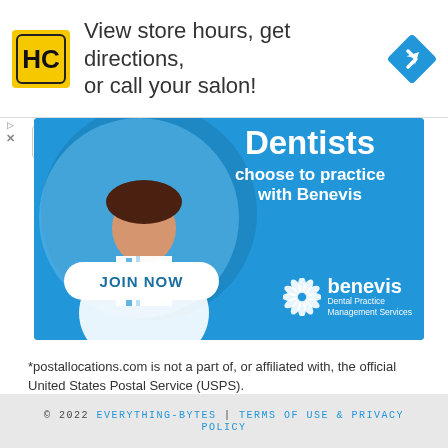[Figure (infographic): Top advertisement banner with HC logo (yellow square with HC letters), text 'View store hours, get directions, or call your salon!', and a blue navigation/directions diamond icon on the right.]
[Figure (infographic): Benevis dental advertisement banner with blue background. Shows a dentist photo on left, text 'Dentists choose to practice with Benevis', a 'JOIN NOW' white button, and the Benevis Dental Practice Management Services logo.]
*postallocations.com is not a part of, or affiliated with, the official United States Postal Service (USPS).
© 2022 EVERYTHING-BYTES | TERMS OF USE & PRIVACY POLICY